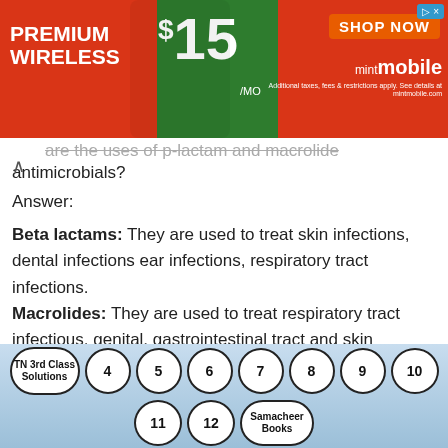[Figure (screenshot): Advertisement banner for Mint Mobile showing orange/green background with 'PREMIUM WIRELESS $15/mo' and 'SHOP NOW' button]
...are the uses of p-lactam and macrolide antimicrobials?
Answer:
Beta lactams: They are used to treat skin infections, dental infections ear infections, respiratory tract infections. Macrolides: They are used to treat respiratory tract infectious, genital, gastrointestinal tract and skin infectious.
Question 26.
[Figure (other): Navigation buttons: TN 3rd Class Solutions, 4, 5, 6, 7, 8, 9, 10, 11, 12, Samacheer Books]